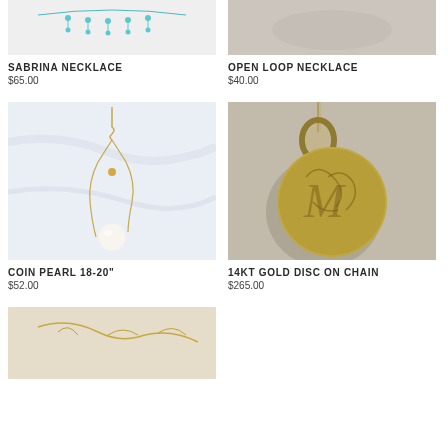[Figure (photo): Partial top image of Sabrina Necklace with turquoise drops]
SABRINA NECKLACE
$65.00
[Figure (photo): Partial top image of Open Loop Necklace on stone background]
OPEN LOOP NECKLACE
$40.00
[Figure (photo): Coin Pearl 18-20 inch necklace on white marble background with gold chain and pearl pendant]
COIN PEARL 18-20"
$52.00
[Figure (photo): 14KT Gold disc on chain with engraved monogram script on stone background]
14KT GOLD DISC ON CHAIN
$265.00
[Figure (photo): Partial bottom image of a gold chain necklace on fabric background]